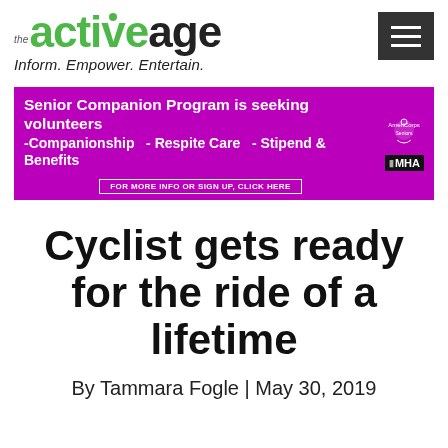the active age — Inform. Empower. Entertain.
[Figure (infographic): Purple advertisement banner for Senior Companion Program. Text: 'Senior Companion Program is seeking volunteers -Companionship - Respite Care - Stipend & Benefits FOR MORE INFO OR SIGN UP, CLICK HERE'. AmeriCorps and MHA logos on right.]
Cyclist gets ready for the ride of a lifetime
By Tammara Fogle | May 30, 2019